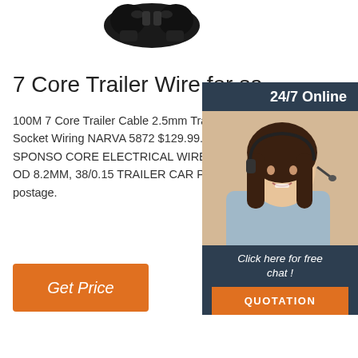[Figure (photo): Partial image of a 7 core trailer wire/plug connector, dark colored, shown at top center of page]
7 Core Trailer Wire for sa
100M 7 Core Trailer Cable 2.5mm Train W Caravan Plug Socket Wiring NARVA 5872 $129.99. Free postage. 56 sold. SPONSO CORE ELECTRICAL WIRE PER 30 METR ROLL. OD 8.2MM, 38/0.15 TRAILER CAR PART. AU $82.00. Free postage.
[Figure (photo): Customer service chat widget on right side: dark navy background panel with '24/7 Online' header, photo of smiling woman with headset, and 'Click here for free chat!' text with orange QUOTATION button]
Get Price